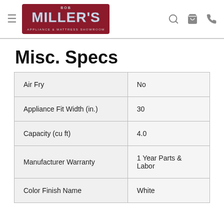Bob Miller's Appliance & Mattress Showroom
Misc. Specs
| Spec | Value |
| --- | --- |
| Air Fry | No |
| Appliance Fit Width (in.) | 30 |
| Capacity (cu ft) | 4.0 |
| Manufacturer Warranty | 1 Year Parts & Labor |
| Color Finish Name | White |